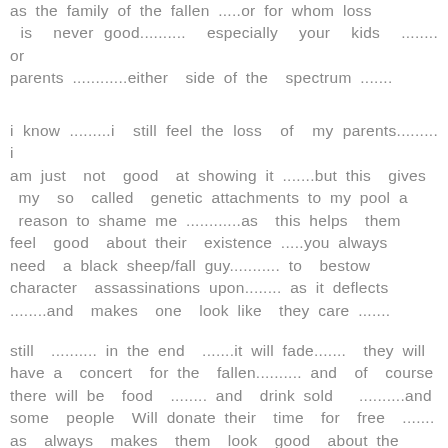as the family of the fallen .....or for whom loss is never good.......... especially your kids ........ or parents ............either side of the spectrum .......
i know .........i still feel the loss of my parents......... i am just not good at showing it .......but this gives my so called genetic attachments to my pool a reason to shame me ............as this helps them feel good about their existence .....you always need a black sheep/fall guy........... to bestow character assassinations upon........ as it deflects ........and makes one look like they care .......
still .......... in the end .......it will fade....... they will have a concert for the fallen.......... and of course there will be food ........ and drink sold ..........and some people Will donate their time for free ....... as always makes them look good about the millions they have.